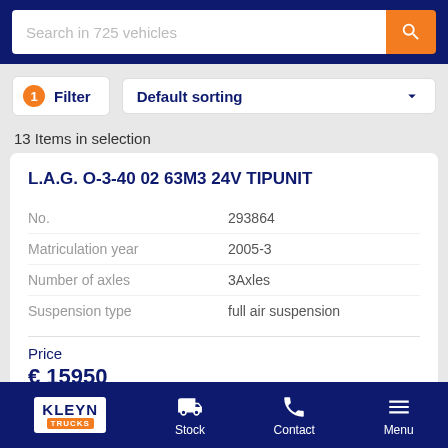Search in 725 vehicles
1 Filter
Default sorting
13 Items in selection
L.A.G. O-3-40 02 63M3 24V TIPUNIT
| Field | Value |
| --- | --- |
| No. | 293864 |
| Matriculation year | 2005-3 |
| Number of axles | 3Axles |
| Suspension type | full air suspension |
Price
€ 15950
KLEYN TRUCKS  Stock  Contact  Menu